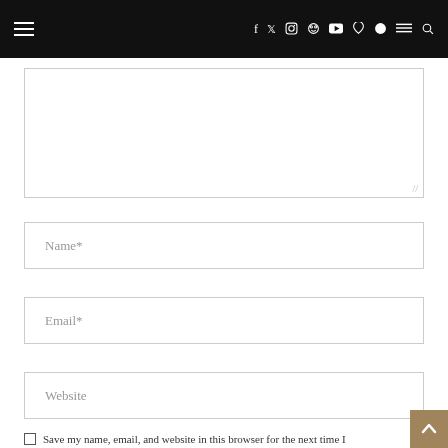Navigation bar with hamburger menu and social icons: f, twitter, instagram, pinterest, youtube, heart, snapchat, menu, search
[Figure (screenshot): Textarea input field with resize handle at bottom right]
Name*
Email*
Website
Save my name, email, and website in this browser for the next time I comment.